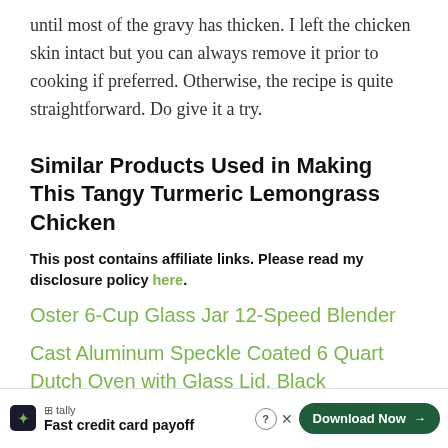until most of the gravy has thicken. I left the chicken skin intact but you can always remove it prior to cooking if preferred. Otherwise, the recipe is quite straightforward. Do give it a try.
Similar Products Used in Making This Tangy Turmeric Lemongrass Chicken
This post contains affiliate links. Please read my disclosure policy here.
Oster 6-Cup Glass Jar 12-Speed Blender
Cast Aluminum Speckle Coated 6 Quart Dutch Oven with Glass Lid, Black
4.3 Quart Nonstick Cast Aluminum Dutch Oven wi...
[Figure (other): Tally advertisement banner: Fast credit card payoff, with Download Now button]